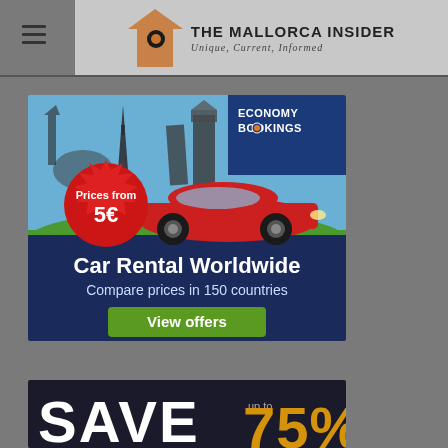The Mallorca Insider — Unique, Current, Informed
[Figure (screenshot): Economy Bookings car rental advertisement: shows world landmarks (Eiffel Tower, Big Ben, Leaning Tower of Pisa, Statue of Liberty), a red sports car, red badge reading 'Prices from 5€', text 'Car Rental Worldwide', 'Compare prices in 150 countries', green button 'View offers']
[Figure (screenshot): Partial advertisement showing 'SAVE up to 75%' in large text, partially cut off at bottom of page]